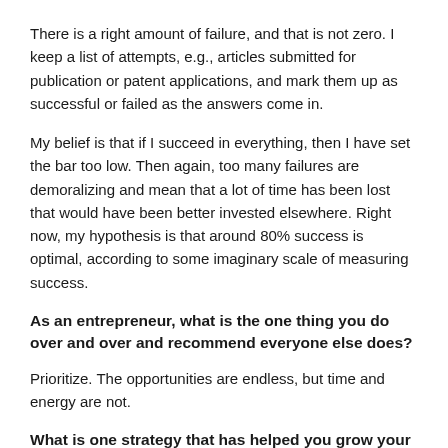There is a right amount of failure, and that is not zero. I keep a list of attempts, e.g., articles submitted for publication or patent applications, and mark them up as successful or failed as the answers come in.
My belief is that if I succeed in everything, then I have set the bar too low. Then again, too many failures are demoralizing and mean that a lot of time has been lost that would have been better invested elsewhere. Right now, my hypothesis is that around 80% success is optimal, according to some imaginary scale of measuring success.
As an entrepreneur, what is the one thing you do over and over and recommend everyone else does?
Prioritize. The opportunities are endless, but time and energy are not.
What is one strategy that has helped you grow your business?
I am part of a team of extremely talented co-founders and managers, so I cannot claim credit for these strategies, but at Codemill / Accurate Video, what we are doing is to